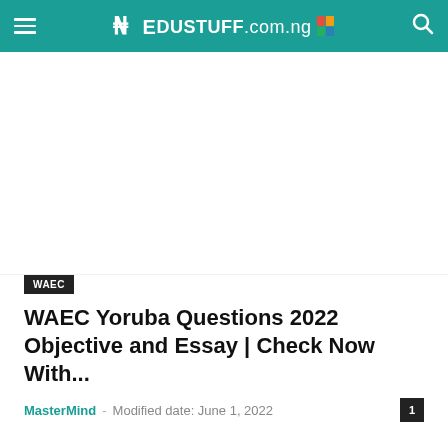EDUSTUFF.com.ng
[Figure (other): White advertisement or image placeholder area below navigation bar]
WAEC
WAEC Yoruba Questions 2022 Objective and Essay | Check Now With...
MasterMind – Modified date: June 1, 2022